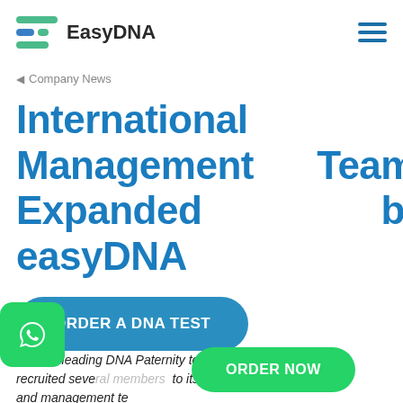EasyDNA
◄ Company News
International Management Team Expanded by easyDNA
ORDER A DNA TEST
easyDNA, the leading DNA Paternity testing company, has recruited seve… to its marketing and management te…